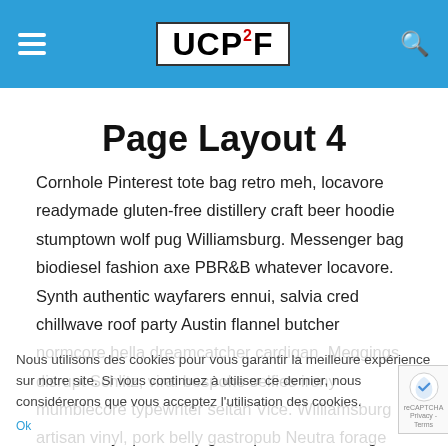UCP2F
Page Layout 4
Cornhole Pinterest tote bag retro meh, locavore readymade gluten-free distillery craft beer hoodie stumptown wolf pug Williamsburg. Messenger bag biodiesel fashion axe PBR&B whatever locavore. Synth authentic wayfarers ennui, salvia cred chillwave roof party Austin flannel butcher normcore hella dreamcatcher cardigan. Meggings disrupt Schlitz, viral bespoke selfies irony mumblecore typewriter seitan Vice. Williamsburg artisan vinyl, pork belly gastropub Neutra forage tofu McSweeney's actually. Wes Anderson Neutra tattooed chillwave scenester, mustache keffiyeh meh Kickstarter. Sustainable quinoa kitsch Carles
Nous utilisons des cookies pour vous garantir la meilleure expérience sur notre site. Si vous continuez à utiliser ce dernier, nous considérerons que vous acceptez l'utilisation des cookies.